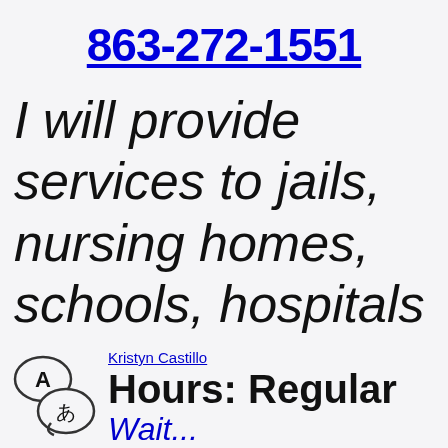863-272-1551
I will provide services to jails, nursing homes, schools, hospitals
Kristyn Castillo
Hours: Regular
Wait...